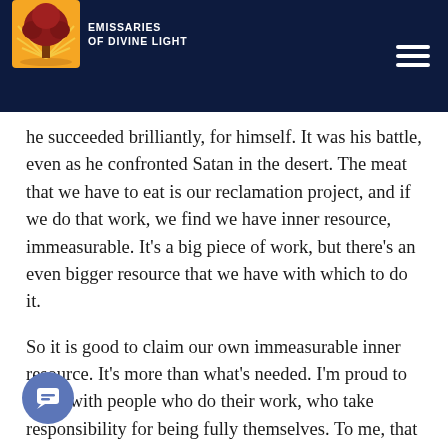Emissaries of Divine Light
he succeeded brilliantly, for himself. It was his battle, even as he confronted Satan in the desert. The meat that we have to eat is our reclamation project, and if we do that work, we find we have inner resource, immeasurable. It's a big piece of work, but there's an even bigger resource that we have with which to do it.
So it is good to claim our own immeasurable inner resource. It's more than what's needed. I'm proud to stand with people who do their work, who take responsibility for being fully themselves. To me, that is a very high standard, not to be passed off in a casual way by saying, in essence, "Oh, this is just what I'm like—get